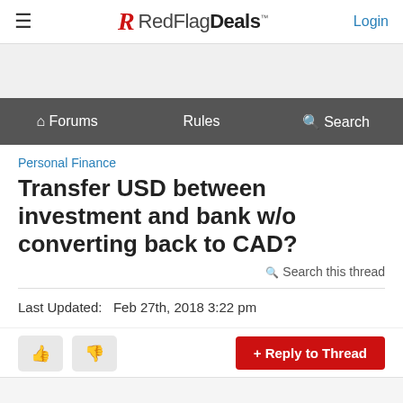RedFlagDeals™  Login
Forums  Rules  Search
Personal Finance
Transfer USD between investment and bank w/o converting back to CAD?
Search this thread
Last Updated:   Feb 27th, 2018 3:22 pm
+ Reply to Thread